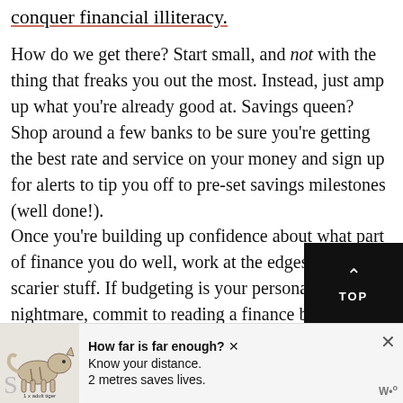conquer financial illiteracy.
How do we get there? Start small, and not with the thing that freaks you out the most. Instead, just amp up what you’re already good at. Savings queen? Shop around a few banks to be sure you’re getting the best rate and service on your money and sign up for alerts to tip you off to pre-set savings milestones (well done!).
Once you’re building up confidence about what part of finance you do well, work at the edges of the scarier stuff. If budgeting is your personal nightmare, commit to reading a finance blog weekly or scouring Pinterest for budgeting articles or top finance apps and starting board on personal finance. Information is the best antidote to fear!
[Figure (other): Black 'TOP' navigation button with upward chevron arrow on dark background]
[Figure (infographic): Advertisement banner: tiger illustration with text 'How far is far enough? Know your distance. 2 metres saves lives. 1 x adult tiger']